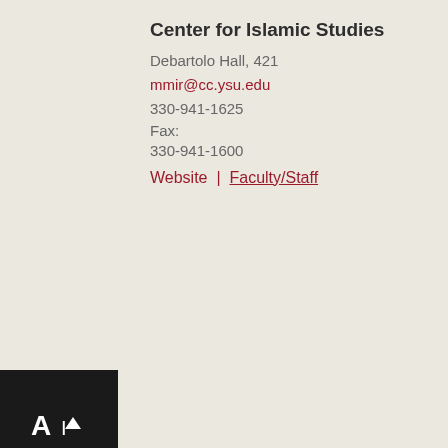Center for Islamic Studies
Debartolo Hall, 421
mmir@cc.ysu.edu
330-941-1625
Fax:
330-941-1600
Website  |  Faculty/Staff
Center for Judaic and Holocaust Studies
Debartolo Hall Room 524
judaic@ysu.edu
330-941-1603
Website  |  Faculty/Staff
Center for Nonprofit Leadership
Williamson Hall 3307